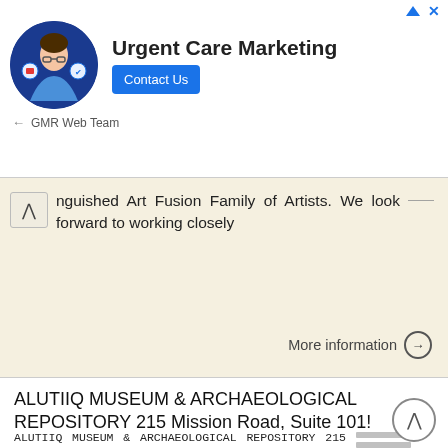[Figure (illustration): Advertisement banner for Urgent Care Marketing by GMR Web Team, showing a person with glasses and a blue background circle, with a Contact Us button]
nguished Art Fusion Family of Artists. We look forward to working closely
More information →
ALUTIIQ MUSEUM & ARCHAEOLOGICAL REPOSITORY 215 Mission Road, Suite 101! Kodiak, Alaska 99615! ! FAX EXHIBITS
ALUTIIQ MUSEUM & ARCHAEOLOGICAL REPOSITORY 215 Mission Road, Suite 101! Kodiak, Alaska 99615! 907-486-7004! FAX 907-486-7048 EXHIBITS POLICY I. INTRODUCTION The Alutiiq Heritage Foundation recognizes that